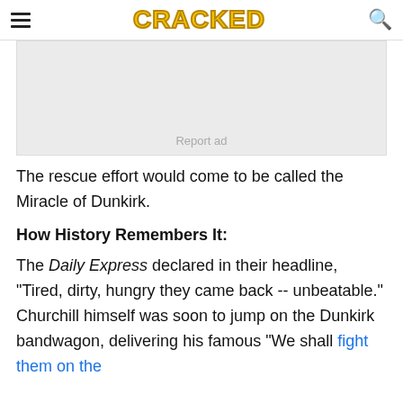CRACKED
[Figure (other): Advertisement placeholder box with 'Report ad' text]
The rescue effort would come to be called the Miracle of Dunkirk.
How History Remembers It:
The Daily Express declared in their headline, "Tired, dirty, hungry they came back -- unbeatable." Churchill himself was soon to jump on the Dunkirk bandwagon, delivering his famous "We shall fight them on the